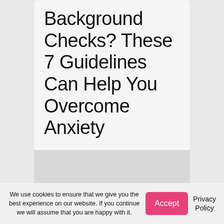Background Checks? These 7 Guidelines Can Help You Overcome Anxiety
We use cookies to ensure that we give you the best experience on our website. If you continue we will assume that you are happy with it.